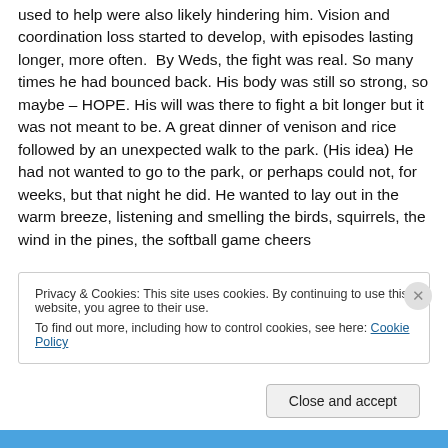used to help were also likely hindering him. Vision and coordination loss started to develop, with episodes lasting longer, more often.  By Weds, the fight was real. So many times he had bounced back. His body was still so strong, so maybe – HOPE. His will was there to fight a bit longer but it was not meant to be. A great dinner of venison and rice followed by an unexpected walk to the park. (His idea) He had not wanted to go to the park, or perhaps could not, for weeks, but that night he did. He wanted to lay out in the warm breeze, listening and smelling the birds, squirrels, the wind in the pines, the softball game cheers
Privacy & Cookies: This site uses cookies. By continuing to use this website, you agree to their use.
To find out more, including how to control cookies, see here: Cookie Policy